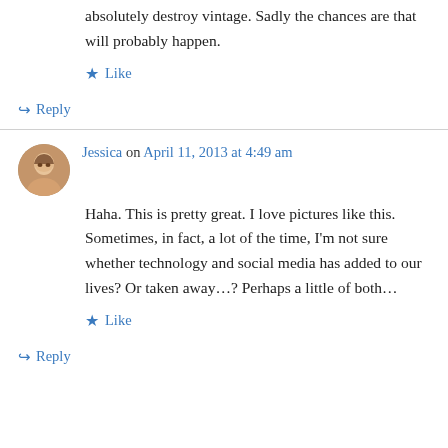absolutely destroy vintage. Sadly the chances are that will probably happen.
★ Like
↳ Reply
Jessica on April 11, 2013 at 4:49 am
Haha. This is pretty great. I love pictures like this. Sometimes, in fact, a lot of the time, I'm not sure whether technology and social media has added to our lives? Or taken away…? Perhaps a little of both…
★ Like
↳ Reply